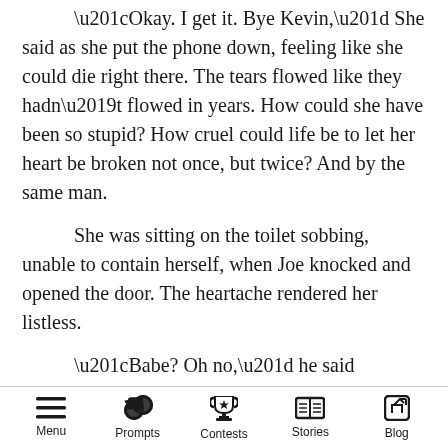“Okay. I get it. Bye Kevin,” She said as she put the phone down, feeling like she could die right there. The tears flowed like they hadn’t flowed in years. How could she have been so stupid? How cruel could life be to let her heart be broken not once, but twice? And by the same man.
She was sitting on the toilet sobbing, unable to contain herself, when Joe knocked and opened the door. The heartache rendered her listless.
“Babe? Oh no,” he said sympathetically and got to his knees in front of her.
Menu  Prompts  Contests  Stories  Blog